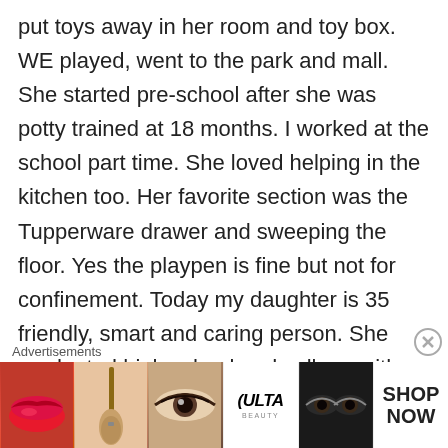put toys away in her room and toy box. WE played, went to the park and mall. She started pre-school after she was potty trained at 18 months. I worked at the school part time. She loved helping in the kitchen too. Her favorite section was the Tupperware drawer and sweeping the floor. Yes the playpen is fine but not for confinement. Today my daughter is 35 friendly, smart and caring person. She graduated high school and college with a B.S degree and has current position as a laboratory quality assurance supervisor.
[Figure (other): Advertisement banner showing Ulta beauty products with close-up images of lips with lipstick, makeup brush, eye with makeup, Ulta Beauty logo, eyes with dramatic makeup, and SHOP NOW call to action]